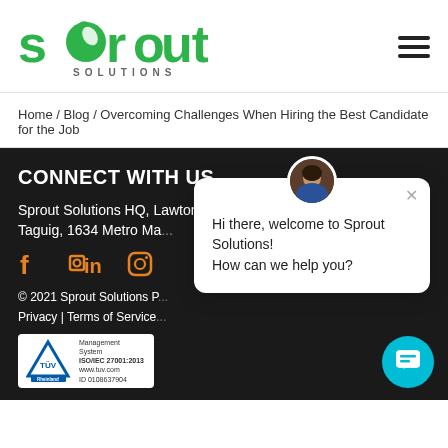[Figure (logo): Sprout Solutions logo with green leaf icon and 'SOLUTIONS' text in gray below]
Home / Blog / Overcoming Challenges When Hiring the Best Candidate for the Job
CONNECT WITH US
Sprout Solutions HQ, Lawton Ave, McKinley West, Taguig, 1634 Metro Ma...
[Figure (illustration): Social media icons: Facebook, LinkedIn, Instagram in orange]
© 2021 Sprout Solutions P...
Privacy | Terms of Service...
[Figure (logo): TÜV Rheinland certified management systems ISO/IEC 27001:2013 badge]
[Figure (screenshot): Chat popup with avatar saying 'Hi there, welcome to Sprout Solutions! How can we help you?']